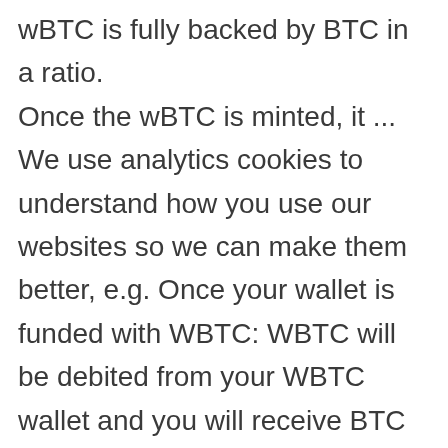wBTC is fully backed by BTC in a ratio. Once the wBTC is minted, it ... We use analytics cookies to understand how you use our websites so we can make them better, e.g. Once your wallet is funded with WBTC: WBTC will be debited from your WBTC wallet and you will receive BTC in your BTC wallet. Whereas WBTC brings Bitcoin's liquidity to DEXs and making it possible to use Bitcoin for token trades. To unwrap WBTC into BTC, you first need to have WBTC in your CoinList wallet. With this, investors can now borrow or lend WBTC in an entirely trustless manner. Dogecoin Price Prediction: DOGE Price Forecast For 2021 and Beyond. Users can